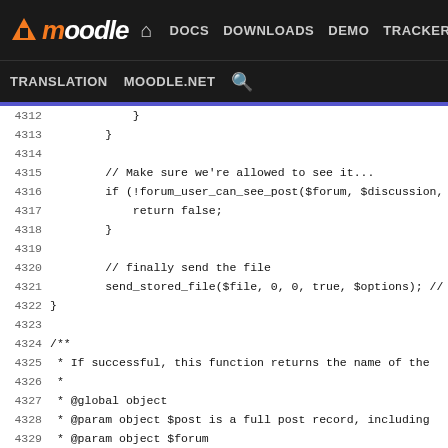[Figure (screenshot): Moodle developer documentation website header with navigation bar showing DOCS, DOWNLOADS, DEMO, TRACKER, DEV links and TRANSLATION, MOODLE.NET, search links below]
Code viewer showing lines 4311-4337 of a PHP file with forum-related functions including forum_user_can_see_post, send_stored_file, and forum_add_attachment